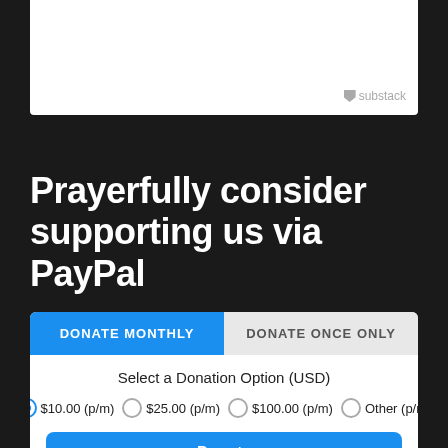[Figure (logo): Substack logo watermark in top-right of white card area]
Prayerfully consider supporting us via PayPal
[Figure (screenshot): PayPal donation widget with two tabs (DONATE MONTHLY selected, DONATE ONCE ONLY), donation amount radio options ($10.00 p/m selected, $25.00 p/m, $100.00 p/m, Other p/m), and a Donate button]